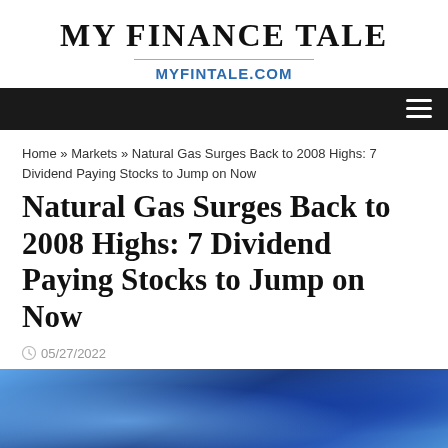MY FINANCE TALE
MYFINTALE.COM
Home » Markets » Natural Gas Surges Back to 2008 Highs: 7 Dividend Paying Stocks to Jump on Now
Natural Gas Surges Back to 2008 Highs: 7 Dividend Paying Stocks to Jump on Now
05/27/2022
[Figure (photo): Blue blurred abstract background image, possibly representing energy or financial markets.]